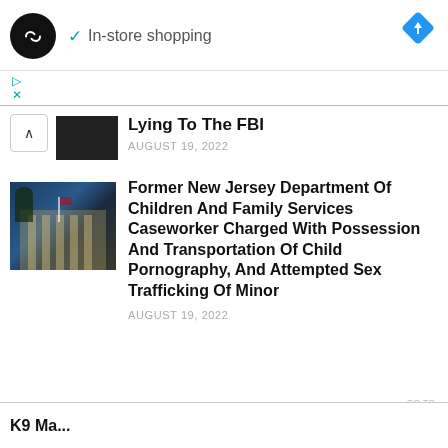[Figure (screenshot): Mobile web browser screenshot showing a news listing page with an ad bar at top (store logo with In-store shopping text and navigation diamond icon), a collapsed article about Lying To The FBI dated August 19 2022, a full article listing for Former New Jersey Department Of Children And Family Services Caseworker Charged With Possession And Transportation Of Child Pornography And Attempted Sex Trafficking Of Minor dated August 19 2022, and a partially visible article at the bottom. A GO TO TOP button is visible at the bottom right.]